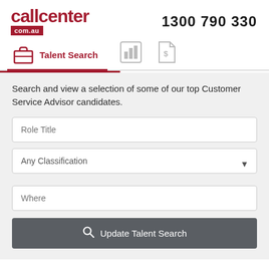[Figure (logo): callcenter.com.au logo in dark red with phone number 1300 790 330]
Talent Search
Search and view a selection of some of our top Customer Service Advisor candidates.
Role Title
Any Classification
Where
Update Talent Search